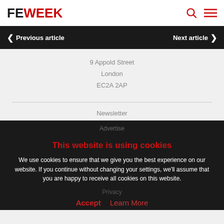FE WEEK
Previous article   Next article
9 Appold Street
London
EC2A 2AP
Newsletter
Advertise
This website is using cookies
We use cookies to ensure that we give you the best experience on our website. If you continue without changing your settings, we'll assume that you are happy to receive all cookies on this website.
Accept   Learn More
Privacy